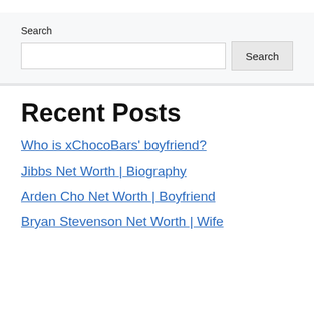Search
Recent Posts
Who is xChocoBars' boyfriend?
Jibbs Net Worth | Biography
Arden Cho Net Worth | Boyfriend
Bryan Stevenson Net Worth | Wife